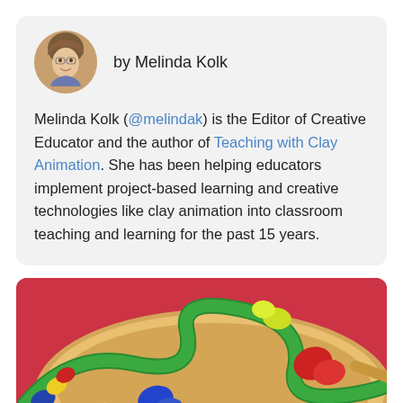by Melinda Kolk
Melinda Kolk (@melindak) is the Editor of Creative Educator and the author of Teaching with Clay Animation. She has been helping educators implement project-based learning and creative technologies like clay animation into classroom teaching and learning for the past 15 years.
[Figure (photo): Close-up photo of colorful clay animation beads/pieces on a wooden abacus-like toy against a pink/red background.]